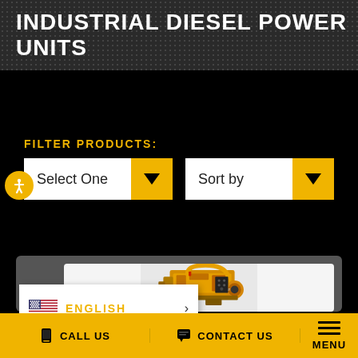INDUSTRIAL DIESEL POWER UNITS
FILTER PRODUCTS:
[Figure (screenshot): Two dropdown UI controls: 'Select One' and 'Sort by', each with a yellow dropdown arrow button on the right]
[Figure (photo): Yellow industrial diesel power unit / engine mounted on a frame, photographed against a light background inside a dark card container]
ENGLISH
CALL US   CONTACT US   MENU